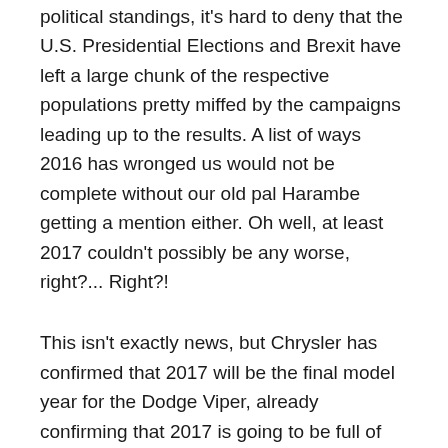political standings, it's hard to deny that the U.S. Presidential Elections and Brexit have left a large chunk of the respective populations pretty miffed by the campaigns leading up to the results. A list of ways 2016 has wronged us would not be complete without our old pal Harambe getting a mention either. Oh well, at least 2017 couldn't possibly be any worse, right?... Right?!
This isn't exactly news, but Chrysler has confirmed that 2017 will be the final model year for the Dodge Viper, already confirming that 2017 is going to be full of suck. The Viper's death has been a long time coming, with the shaky launch of the